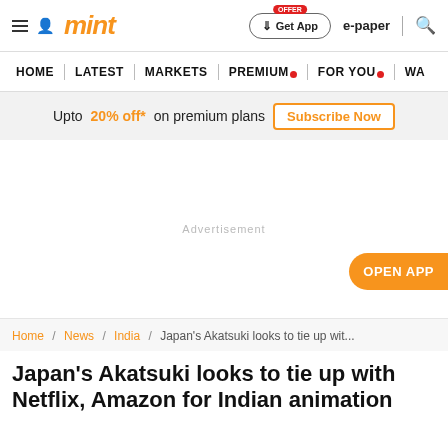mint
Upto 20% off* on premium plans Subscribe Now
Advertisement
OPEN APP
Home / News / India / Japan's Akatsuki looks to tie up wit...
Japan's Akatsuki looks to tie up with Netflix, Amazon for Indian animation